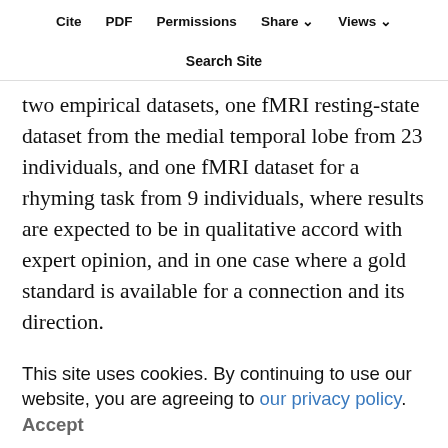Cite   PDF   Permissions   Share   Views
Search Site
two empirical datasets, one fMRI resting-state dataset from the medial temporal lobe from 23 individuals, and one fMRI dataset for a rhyming task from 9 individuals, where results are expected to be in qualitative accord with expert opinion, and in one case where a gold standard is available for a connection and its direction.
We emphasize that the algorithms we review here are scarcely the last word on the subject. New statistical
This site uses cookies. By continuing to use our website, you are agreeing to our privacy policy.
Accept